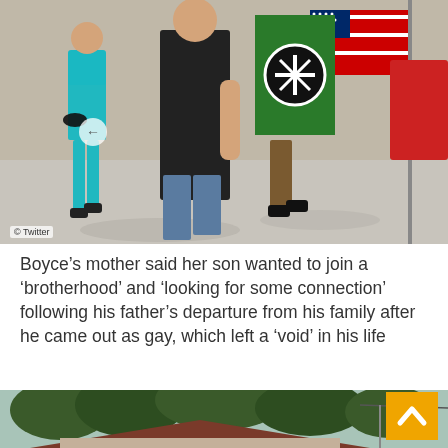[Figure (photo): Outdoor photo of people marching/walking on a street, holding an American flag and a green flag with a symbol. One person wears a black t-shirt, another wears teal shorts. Photo credited to Twitter.]
Boyce’s mother said her son wanted to join a ‘brotherhood’ and ‘looking for some connection’ following his father’s departure from his family after he came out as gay, which left a ‘void’ in his life
[Figure (photo): Exterior photo of a small brick house with a brown roof, surrounded by trees. A back-to-top navigation button (orange with upward chevron) is visible at the bottom right.]